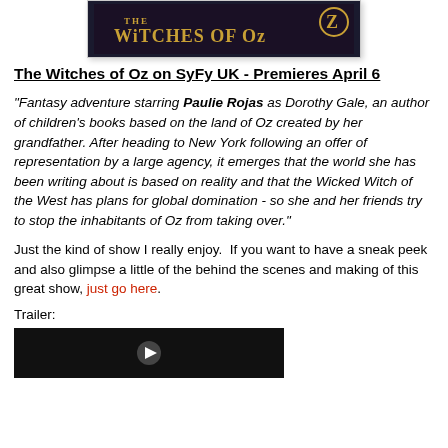[Figure (photo): Movie title card for 'The Witches of Oz' with dark fantasy background]
The Witches of Oz on SyFy UK - Premieres April 6
"Fantasy adventure starring Paulie Rojas as Dorothy Gale, an author of children's books based on the land of Oz created by her grandfather. After heading to New York following an offer of representation by a large agency, it emerges that the world she has been writing about is based on reality and that the Wicked Witch of the West has plans for global domination - so she and her friends try to stop the inhabitants of Oz from taking over."
Just the kind of show I really enjoy.  If you want to have a sneak peek and also glimpse a little of the behind the scenes and making of this great show, just go here.
Trailer:
[Figure (screenshot): Video thumbnail for The Witches of Oz trailer, dark background with play button]